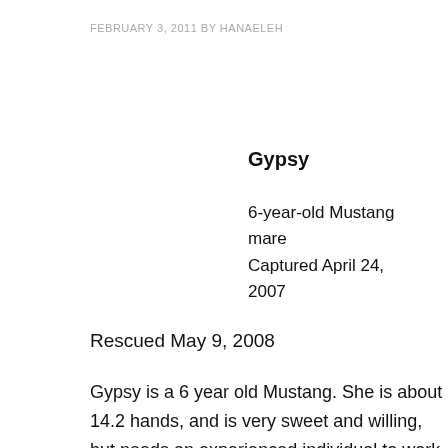FEBRUARY 3, 2011 BY HANAELEH
Gypsy
6-year-old Mustang mare
Captured April 24, 2007
Rescued May 9, 2008
Gypsy is a 6 year old Mustang. She is about 14.2 hands, and is very sweet and willing, but needs an experienced individual to work with her. Gypsy has good feet and is very